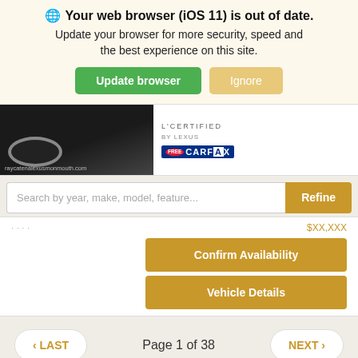🌐 Your web browser (iOS 11) is out of date. Update your browser for more security, speed and the best experience on this site.
Update browser | Ignore
[Figure (screenshot): Partial view of a Lexus car listing showing the front of a dark car, L/Certified by Lexus logo, and Free CARFAX badge. URL raycatenalexusmonmouth.com visible.]
Search by year, make, model, feature...
Refine
Confirm Availability
Vehicle Details
< LAST   Page 1 of 38   NEXT >
Disclaimer:
New vehicle pricing includes all offers and incentives. Tax, Title and Tags not